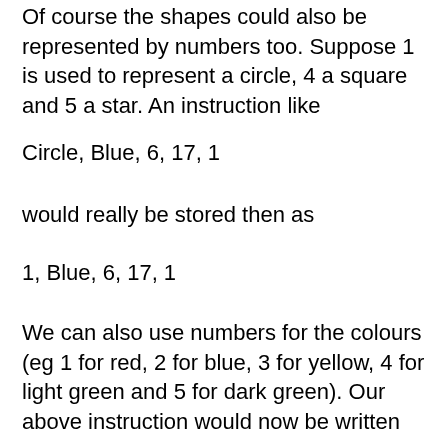Of course the shapes could also be represented by numbers too. Suppose 1 is used to represent a circle, 4 a square and 5 a star. An instruction like
Circle, Blue, 6, 17, 1
would really be stored then as
1, Blue, 6, 17, 1
We can also use numbers for the colours (eg 1 for red, 2 for blue, 3 for yellow, 4 for light green and 5 for dark green). Our above instruction would now be written